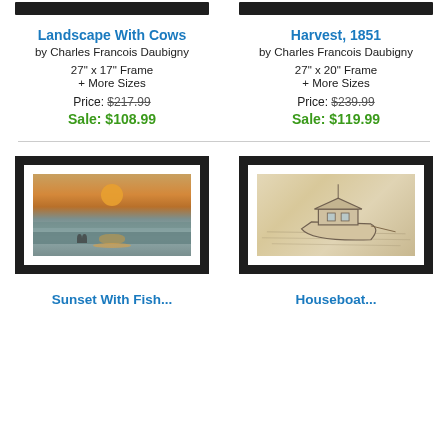[Figure (photo): Framed art print top edge (Landscape With Cows) - black frame top portion visible]
[Figure (photo): Framed art print top edge (Harvest, 1851) - black frame top portion visible]
Landscape With Cows
by Charles Francois Daubigny
27" x 17" Frame
+ More Sizes
Price: $217.99
Sale: $108.99
Harvest, 1851
by Charles Francois Daubigny
27" x 20" Frame
+ More Sizes
Price: $239.99
Sale: $119.99
[Figure (photo): Framed sunset seascape painting with orange sky and figures on beach, in black frame with white mat]
[Figure (photo): Framed pencil sketch of a houseboat on water, in black frame with white mat]
Sunset With Fish...
Houseboat...